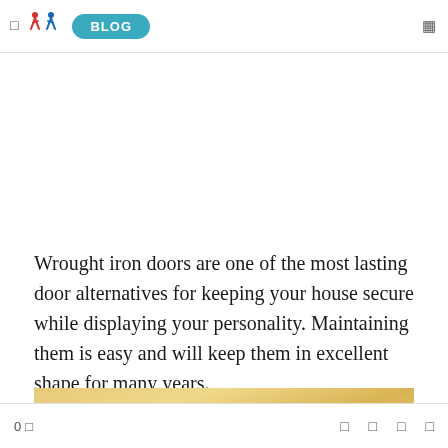BLOG
Wrought iron doors are one of the most lasting door alternatives for keeping your house secure while displaying your personality. Maintaining them is easy and will keep them in excellent shape for many years.
[Figure (photo): Close-up photograph of a warm golden/sandy textured surface (likely a wrought iron door with a wooden or painted finish showing grain texture), with a small bright highlight spot near center.]
0